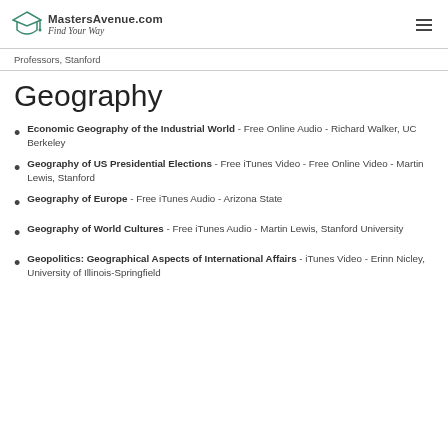MastersAvenue.com — Find Your Way
Professors, Stanford
Geography
Economic Geography of the Industrial World - Free Online Audio - Richard Walker, UC Berkeley
Geography of US Presidential Elections - Free iTunes Video - Free Online Video - Martin Lewis, Stanford
Geography of Europe - Free iTunes Audio - Arizona State
Geography of World Cultures - Free iTunes Audio - Martin Lewis, Stanford University
Geopolitics: Geographical Aspects of International Affairs - iTunes Video - Erinn Nicley, University of Illinois-Springfield